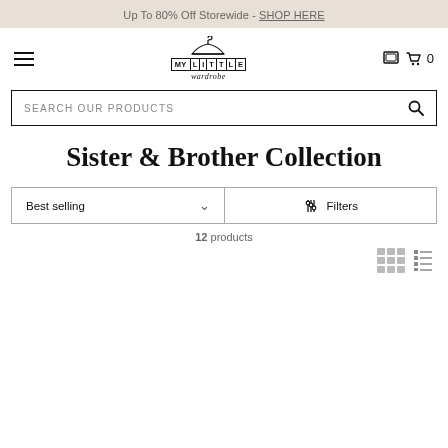Up To 80% Off Storewide - SHOP HERE
[Figure (logo): My Little Wardrobe logo with hanger icon]
SEARCH OUR PRODUCTS
Sister & Brother Collection
Best selling  ∨  Filters
12 products